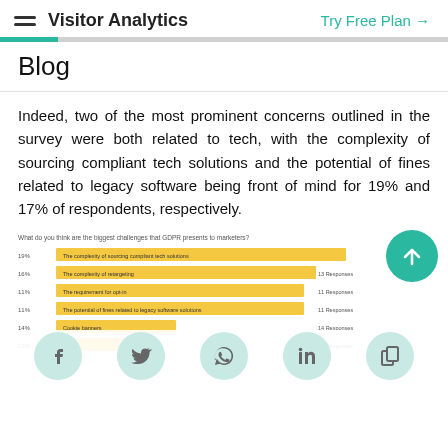Visitor Analytics | Try Free Plan →
Blog
Indeed, two of the most prominent concerns outlined in the survey were both related to tech, with the complexity of sourcing compliant tech solutions and the potential of fines related to legacy software being front of mind for 19% and 17% of respondents, respectively.
[Figure (bar-chart): Horizontal bar chart titled 'What do you think are the biggest challenges that GDPR presents to marketers?' showing percentages for various challenges including complexity of sourcing compliant tech solutions (19%), complexity of retargeting (16%), requirement for opt-in (11%), potential of fines related to legacy software solutions (11%), Cookie banners (14%), and others (16%).]